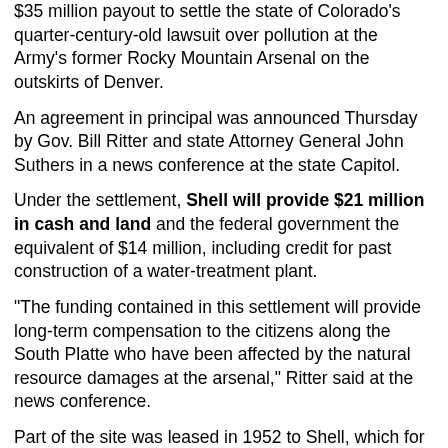$35 million payout to settle the state of Colorado's quarter-century-old lawsuit over pollution at the Army's former Rocky Mountain Arsenal on the outskirts of Denver.
An agreement in principal was announced Thursday by Gov. Bill Ritter and state Attorney General John Suthers in a news conference at the state Capitol.
Under the settlement, Shell will provide $21 million in cash and land and the federal government the equivalent of $14 million, including credit for past construction of a water-treatment plant.
"The funding contained in this settlement will provide long-term compensation to the citizens along the South Platte who have been affected by the natural resource damages at the arsenal," Ritter said at the news conference.
Part of the site was leased in 1952 to Shell, which for three decades made pesticides, insecticides, herbicides, and other chemicals there.
Under the settlement, $10 million from Shell will be administered by the state's Natural Resource Trustees for restoration projects in the arsenal area.